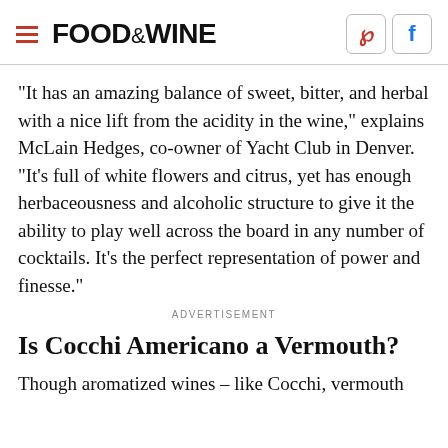FOOD & WINE
"It has an amazing balance of sweet, bitter, and herbal with a nice lift from the acidity in the wine," explains McLain Hedges, co-owner of Yacht Club in Denver. "It's full of white flowers and citrus, yet has enough herbaceousness and alcoholic structure to give it the ability to play well across the board in any number of cocktails. It's the perfect representation of power and finesse."
ADVERTISEMENT
Is Cocchi Americano a Vermouth?
Though aromatized wines – like Cocchi, vermouth